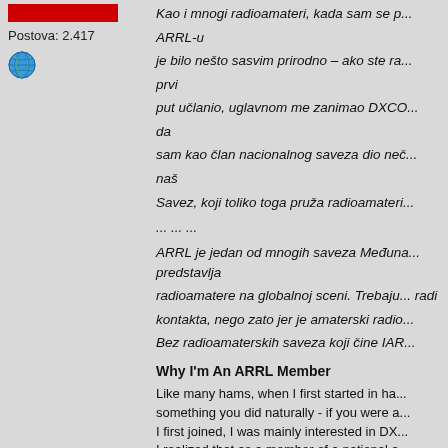[Figure (other): Red bar/banner graphic at top of left column]
Postova: 2.417
[Figure (other): Globe/world icon]
Kao i mnogi radioamateri, kada sam se p... ARRL-u je bilo nešto sasvim prirodno – ako ste ra... prvi put učlanio, uglavnom me zanimao DXCO... da sam kao član nacionalnog saveza dio neč... naš Savez, koji toliko toga pruža radioamateri...
... ... ...
ARRL je jedan od mnogih saveza Međuna... predstavlja radioamatere na globalnoj sceni. Trebaju... radi kontakta, nego zato jer je amaterski radio... Bez radioamaterskih saveza koji čine IAR...
Why I'm An ARRL Member
Like many hams, when I first started in ha... something you did naturally - if you were a... I first joined, I was mainly interested in DX... I realized that as a member of a national a...